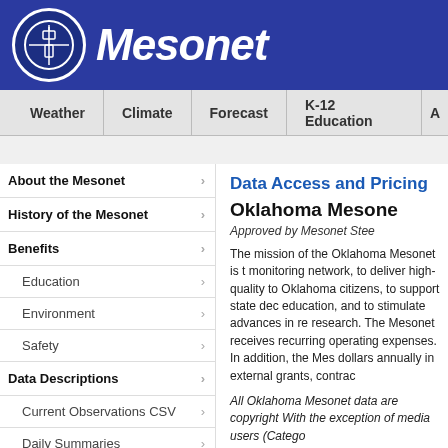Mesonet
Weather | Climate | Forecast | K-12 Education | A
About the Mesonet
History of the Mesonet
Benefits
Education
Environment
Safety
Data Descriptions
Current Observations CSV
Daily Summaries
Long-Term Averages
Data Access and Pricing
Oklahoma Mesone
Approved by Mesonet Stee
The mission of the Oklahoma Mesonet is t monitoring network, to deliver high-quality to Oklahoma citizens, to support state dec education, and to stimulate advances in re research.  The Mesonet receives recurring operating expenses.  In addition, the Mes dollars annually in external grants, contrac
All Oklahoma Mesonet data are copyright With the exception of media users (Catego